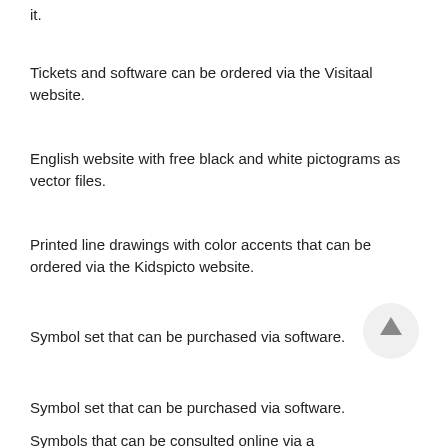it.
Tickets and software can be ordered via the Visitaal website.
English website with free black and white pictograms as vector files.
Printed line drawings with color accents that can be ordered via the Kidspicto website.
Symbol set that can be purchased via software.
Symbol set that can be purchased via software.
Symbols that can be consulted online via a